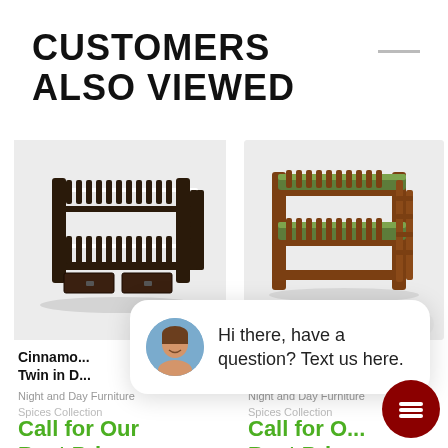CUSTOMERS ALSO VIEWED
[Figure (photo): Dark espresso wood twin-over-twin bunk bed with ladder and storage drawers]
[Figure (photo): Medium brown twin-over-twin bunk bed with green bedding and ladder, with close button overlay]
Cinnamo... Twin in D...
Night and Day Furniture
Spices Collection
Call for Our Best Price
Night and Day Furniture
Spices Collection
Call for Our Best Price
Hi there, have a question? Text us here.